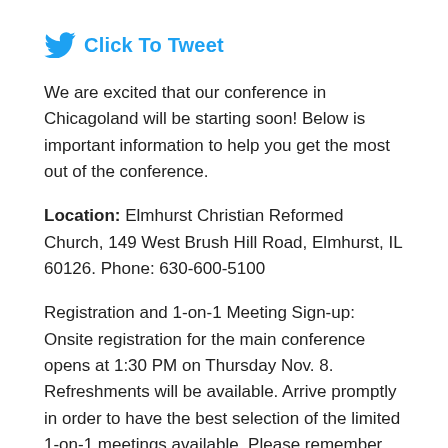[Figure (logo): Twitter bird icon with 'Click To Tweet' text in blue]
We are excited that our conference in Chicagoland will be starting soon! Below is important information to help you get the most out of the conference.
Location: Elmhurst Christian Reformed Church, 149 West Brush Hill Road, Elmhurst, IL 60126. Phone: 630-600-5100
Registration and 1-on-1 Meeting Sign-up: Onsite registration for the main conference opens at 1:30 PM on Thursday Nov. 8. Refreshments will be available. Arrive promptly in order to have the best selection of the limited 1-on-1 meetings available. Please remember that 1-on-1 meetings are simply informal chats; they are not intended to be